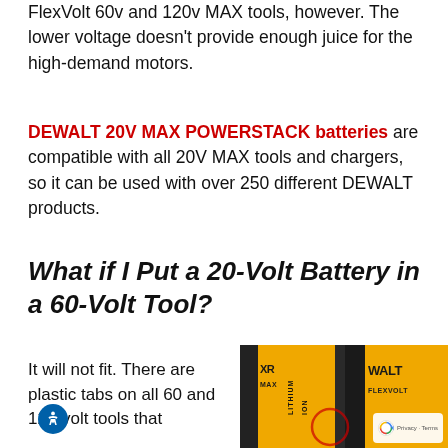FlexVolt 60v and 120v MAX tools, however. The lower voltage doesn't provide enough juice for the high-demand motors.
DEWALT 20V MAX POWERSTACK batteries are compatible with all 20V MAX tools and chargers, so it can be used with over 250 different DEWALT products.
What if I Put a 20-Volt Battery in a 60-Volt Tool?
It will not fit. There are plastic tabs on all 60 and 120-volt tools that
[Figure (photo): Close-up photo of DEWALT FlexVolt yellow and black battery packs with LITHIUM ION text visible]